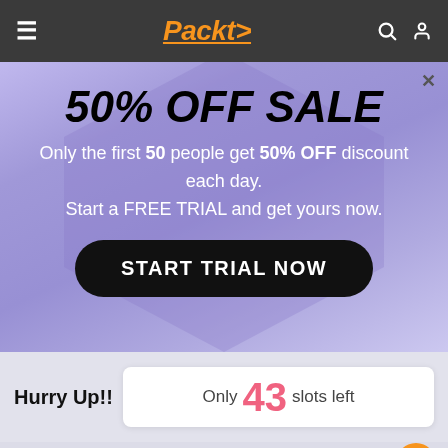Packt>
50% OFF SALE
Only the first 50 people get 50% OFF discount each day. Start a FREE TRIAL and get yours now.
START TRIAL NOW
Hurry Up!!  Only 43 slots left
Analysis: